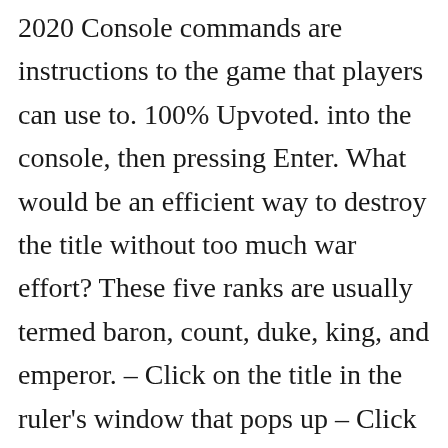2020 Console commands are instructions to the game that players can use to. 100% Upvoted. into the console, then pressing Enter. What would be an efficient way to destroy the title without too much war effort? These five ranks are usually termed baron, count, duke, king, and emperor. – Click on the title in the ruler's window that pops up – Click on the Make Primary button at the bottom of the title window. Get the latest cheats and strategies to help you to … CK2 Cheats CK2 Province IDs CK2 Event IDs Other CK2 IDs and Codes . For the modding term, see commands.. The syntax for the